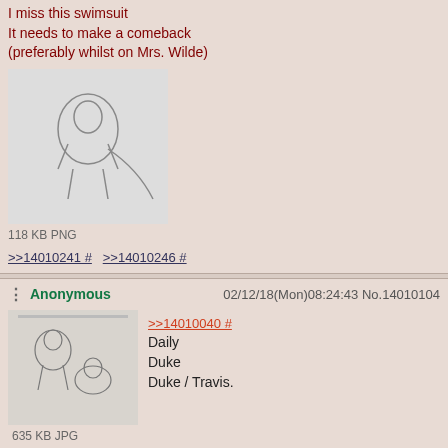I miss this swimsuit
It needs to make a comeback
(preferably whilst on Mrs. Wilde)
[Figure (illustration): Sketch of a female cartoon cat character in a swimsuit, tail visible, black and white pencil drawing]
118 KB PNG
>>14010241 #  >>14010246 #
Anonymous  02/12/18(Mon)08:24:43 No.14010104
[Figure (illustration): Sketch of cartoon animal characters, black and white, appears to show multiple figures]
>>14010040 #
Daily
Duke
Duke / Travis.
635 KB JPG
>>14010141 #
Anonymous  02/12/18(Mon)08:27:57 No.14010141
>>14010104 #
I realize that this is a meme by now, maybe, but I feel like Gideon-x-Travis is ideal.
>>14010615 #